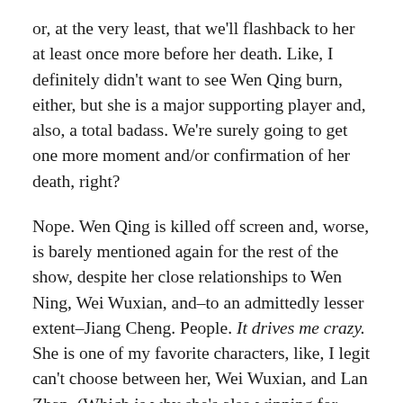or, at the very least, that we'll flashback to her at least once more before her death. Like, I definitely didn't want to see Wen Qing burn, either, but she is a major supporting player and, also, a total badass. We're surely going to get one more moment and/or confirmation of her death, right?
Nope. Wen Qing is killed off screen and, worse, is barely mentioned again for the rest of the show, despite her close relationships to Wen Ning, Wei Wuxian, and–to an admittedly lesser extent–Jiang Cheng. People. It drives me crazy. She is one of my favorite characters, like, I legit can't choose between her, Wei Wuxian, and Lan Zhan. (Which is why she's also winning for JIMMY, NOOOOOOO!) And while I had prepared myself for the likelihood of her character's death, I had not